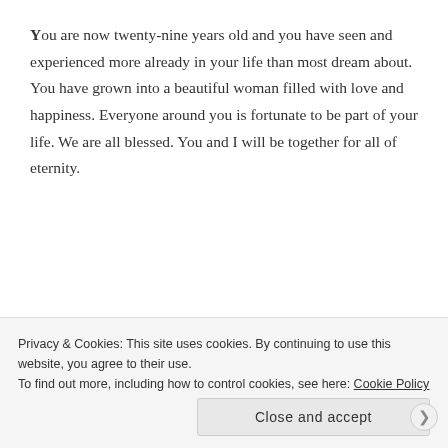You are now twenty-nine years old and you have seen and experienced more already in your life than most dream about. You have grown into a beautiful woman filled with love and happiness. Everyone around you is fortunate to be part of your life. We are all blessed. You and I will be together for all of eternity.
Share this:
Loading...
Posted in Acrostic, Life, Poetry and tagged eternity, husband, love
Privacy & Cookies: This site uses cookies. By continuing to use this website, you agree to their use.
To find out more, including how to control cookies, see here: Cookie Policy
Close and accept